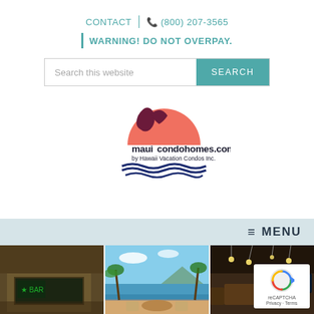CONTACT | (800) 207-3565
WARNING! DO NOT OVERPAY.
[Figure (screenshot): Search box with 'Search this website' placeholder and teal SEARCH button]
[Figure (logo): mauicondohomes.com by Hawaii Vacation Condos Inc. logo with bird, sunset, and wave graphics]
≡ MENU
[Figure (photo): Three vacation property photos side by side: retail exterior, oceanfront balcony with palm trees, and interior dining area]